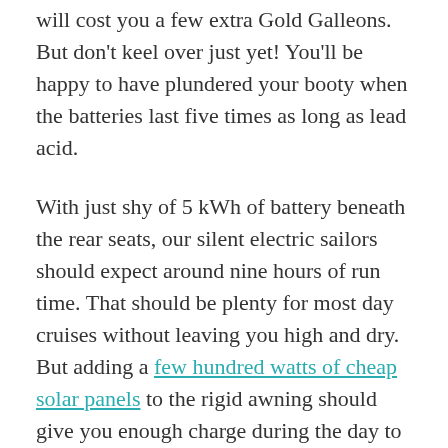will cost you a few extra Gold Galleons. But don't keel over just yet! You'll be happy to have plundered your booty when the batteries last five times as long as lead acid.
With just shy of 5 kWh of battery beneath the rear seats, our silent electric sailors should expect around nine hours of run time. That should be plenty for most day cruises without leaving you high and dry. But adding a few hundred watts of cheap solar panels to the rigid awning should give you enough charge during the day to extend your voyage past dusk. In fact, you might even be able to get enough charge on your off days to arrive at the dock with a full battery just from solar charging!
Anyone who has ever spent some time at a marine gas station will know you want to do everything you can to avoid those places!